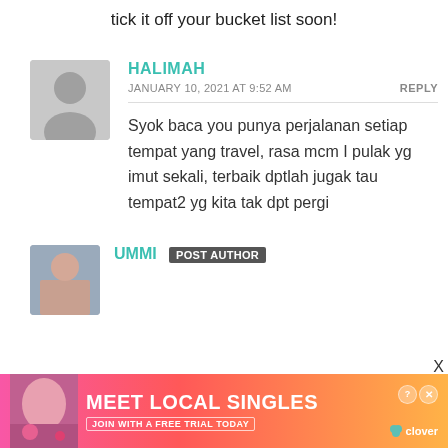tick it off your bucket list soon!
HALIMAH
JANUARY 10, 2021 AT 9:52 AM
REPLY
Syok baca you punya perjalanan setiap tempat yang travel, rasa mcm I pulak yg imut sekali, terbaik dptlah jugak tau tempat2 yg kita tak dpt pergi
UMMI POST AUTHOR
[Figure (screenshot): Advertisement banner: Meet Local Singles - Join with a free trial today - Clover app]